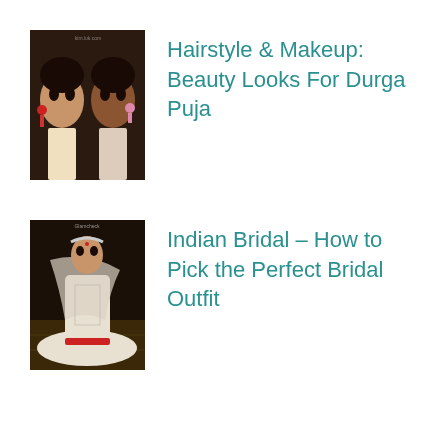[Figure (photo): Two Indian women with traditional makeup, bindi, and festive hairstyles with red floral accessories]
Hairstyle & Makeup: Beauty Looks For Durga Puja
[Figure (photo): Indian bride in white and silver lehenga seated, with dupatta draped, Glamcheck watermark visible]
Indian Bridal – How to Pick the Perfect Bridal Outfit